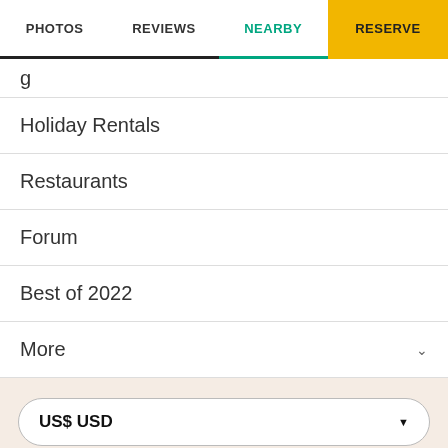PHOTOS | REVIEWS | NEARBY | RESERVE
g…
Holiday Rentals
Restaurants
Forum
Best of 2022
More
US$ USD
New Zealand
© 2022 Tripadvisor LLC All rights reserved. Terms of Use